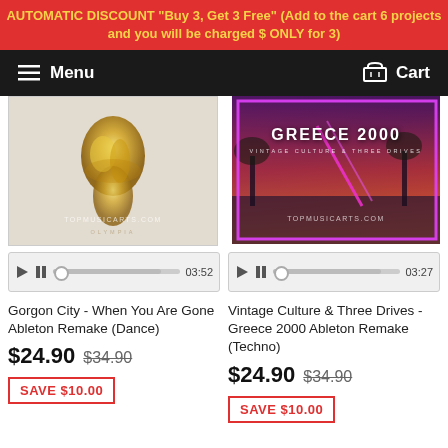AUTOMATIC DISCOUNT "Buy 3, Get 3 Free" (Add to the cart 6 projects and you will be charged $ ONLY for 3)
Menu | Cart
[Figure (photo): Album artwork for Gorgon City - When You Are Gone, showing golden sculptural figure on light background with TOPMUSICARTS.COM watermark and OLYMPIA text]
[Figure (photo): Album artwork for Greece 2000 by Vintage Culture & Three Drives, showing tropical sunset scene with purple neon border, neon diagonal lines, and TOPMUSICARTS.COM watermark]
03:52
03:27
Gorgon City - When You Are Gone Ableton Remake (Dance)
Vintage Culture & Three Drives - Greece 2000 Ableton Remake (Techno)
$24.90 $34.90
$24.90 $34.90
SAVE $10.00
SAVE $10.00